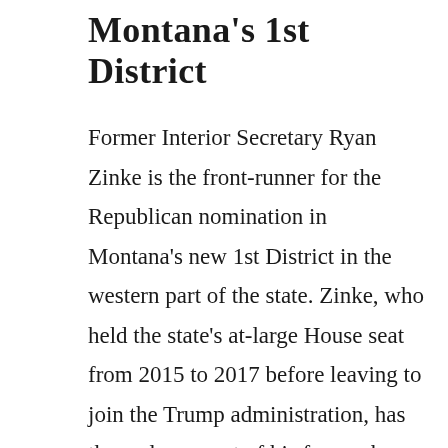Montana's 1st District
Former Interior Secretary Ryan Zinke is the front-runner for the Republican nomination in Montana's new 1st District in the western part of the state. Zinke, who held the state's at-large House seat from 2015 to 2017 before leaving to join the Trump administration, has the endorsement of his former boss. His top rival for the GOP nod is former state Sen. Al Olszewski, who unsuccessfully sought the Republican nomination for US Senate in 2018 and for governor in 2020. Candidates vying for the Democratic nomination include nonprofit executive Cora Neumann, lawyer and former